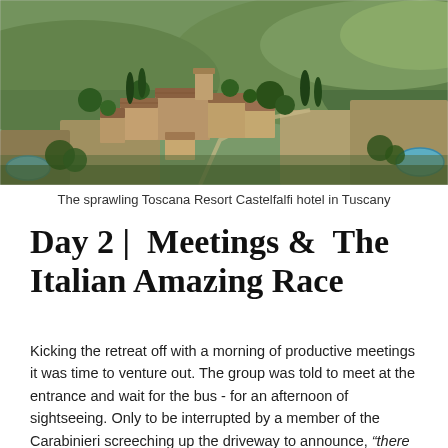[Figure (photo): Aerial photograph of the sprawling Toscana Resort Castelfalfi hotel complex in Tuscany, Italy, showing terracotta-roofed stone buildings nestled among green rolling hills, trees, and a swimming pool in the corner.]
The sprawling Toscana Resort Castelfalfi hotel in Tuscany
Day 2 |  Meetings &  The Italian Amazing Race
Kicking the retreat off with a morning of productive meetings it was time to venture out. The group was told to meet at the entrance and wait for the bus - for an afternoon of sightseeing. Only to be interrupted by a member of the Carabinieri screeching up the driveway to announce, “there